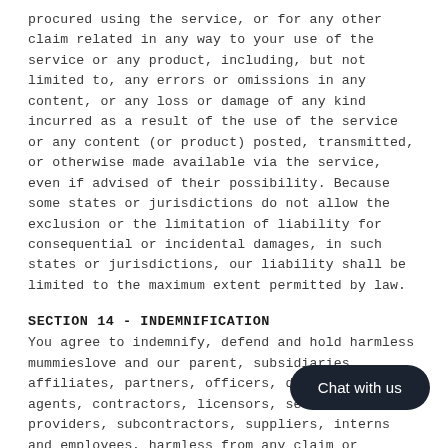procured using the service, or for any other claim related in any way to your use of the service or any product, including, but not limited to, any errors or omissions in any content, or any loss or damage of any kind incurred as a result of the use of the service or any content (or product) posted, transmitted, or otherwise made available via the service, even if advised of their possibility. Because some states or jurisdictions do not allow the exclusion or the limitation of liability for consequential or incidental damages, in such states or jurisdictions, our liability shall be limited to the maximum extent permitted by law.
SECTION 14 - INDEMNIFICATION
You agree to indemnify, defend and hold harmless mummieslove and our parent, subsidiaries, affiliates, partners, officers, directors, agents, contractors, licensors, service providers, subcontractors, suppliers, interns and employees, harmless from any claim or demand, including reasonable attorneys' fees, made by any third-party due to or arising out of your breach of these Terms of Service or the documents they incorporate by reference, or your violation of any law or the rights of a third-party.